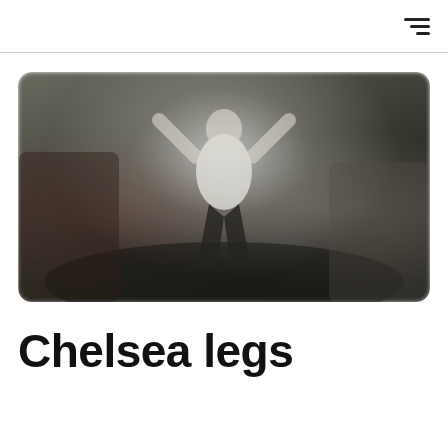☰
[Figure (photo): Blurred photograph of a person with arms raised in a gym or indoor exercise space. The figure wears a white top and dark pants. Background shows darkened room with equipment.]
Chelsea legs